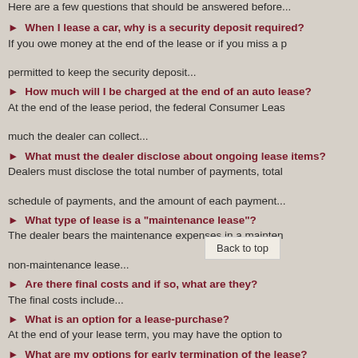Here are a few questions that should be answered before...
► When I lease a car, why is a security deposit required?
If you owe money at the end of the lease or if you miss a payment, the dealer is permitted to keep the security deposit...
► How much will I be charged at the end of an auto lease?
At the end of the lease period, the federal Consumer Leasing Act limits how much the dealer can collect...
► What must the dealer disclose about ongoing lease items?
Dealers must disclose the total number of payments, total amount due, the schedule of payments, and the amount of each payment...
► What type of lease is a "maintenance lease"?
The dealer bears the maintenance expenses in a maintenance lease, unlike a non-maintenance lease...
► Are there final costs and if so, what are they?
The final costs include...
► What is an option for a lease-purchase?
At the end of your lease term, you may have the option to...
► What are my options for early termination of the lease?
You will need to pay an extra charge if you end the lease...